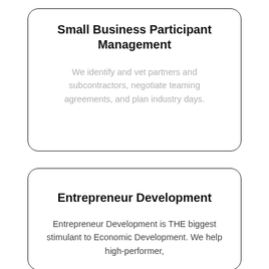Small Business Participant Management
We identify and vet partners and subcontractors, negotiate teaming agreements, and plan industry days.
Entrepreneur Development
Entrepreneur Development is THE biggest stimulant to Economic Development. We help high-performer,